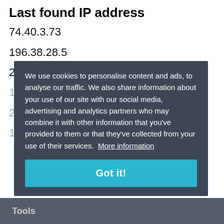Last found IP address
74.40.3.73
196.38.28.5
209.85.220.41
192.0.0.192
20.90.133.245
185.…
We use cookies to personalise content and ads, to analyse our traffic. We also share information about your use of our site with our social media, advertising and analytics partners who may combine it with other information that you've provided to them or that they've collected from your use of their services.  More information
Got it!
Tools